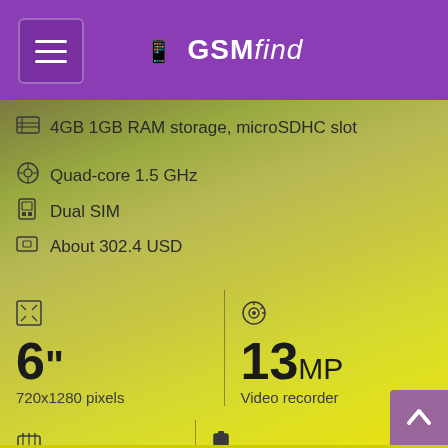GSMfind
4GB 1GB RAM storage, microSDHC slot
Quad-core 1.5 GHz
Dual SIM
About 302.4 USD
6"
720x1280 pixels
13MP
Video recorder
1GB RAM
2600mAh
Li-Po